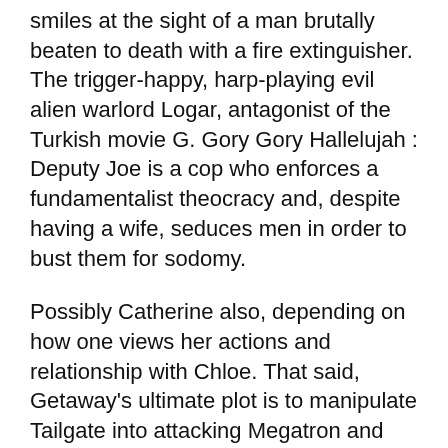smiles at the sight of a man brutally beaten to death with a fire extinguisher. The trigger-happy, harp-playing evil alien warlord Logar, antagonist of the Turkish movie G. Gory Gory Hallelujah : Deputy Joe is a cop who enforces a fundamentalist theocracy and, despite having a wife, seduces men in order to bust them for sodomy.
Possibly Catherine also, depending on how one views her actions and relationship with Chloe. That said, Getaway's ultimate plot is to manipulate Tailgate into attacking Megatron and become a martyr and though he flirts with male and female bots he never entertains any serious romantic attachment.
Seeking: Seeking sex Relationship Status: